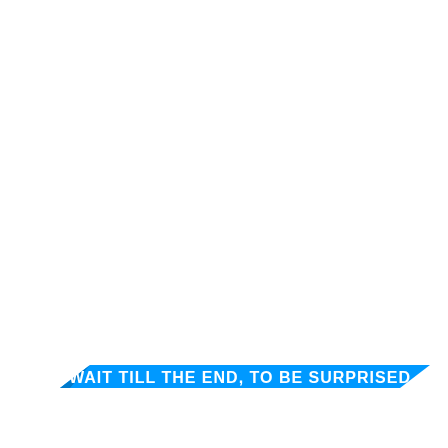[Figure (infographic): A blue diagonal ribbon/banner near the bottom of a mostly white page. The banner contains bold white text reading 'WAIT TILL THE END, TO BE SURPRISED'. The ribbon has a parallelogram shape with a pointed left end and angled right edge.]